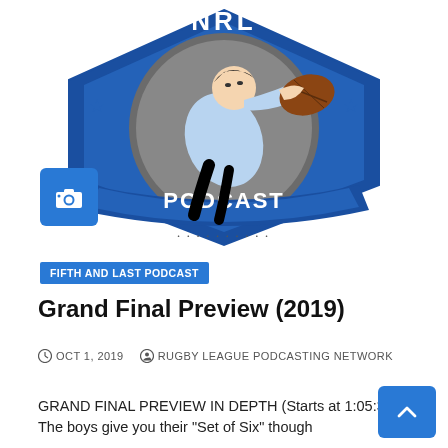[Figure (logo): NRL Podcast logo: rugby league player diving with ball, blue diamond shield badge with stars, blue banner reading PODCAST, partial NRL text at top]
[Figure (other): Blue square button with camera icon]
FIFTH AND LAST PODCAST
Grand Final Preview (2019)
OCT 1, 2019   RUGBY LEAGUE PODCASTING NETWORK
GRAND FINAL PREVIEW IN DEPTH (Starts at 1:05:30) The boys give you their “Set of Six” though
[Figure (other): Blue square back-to-top button with upward chevron arrow]